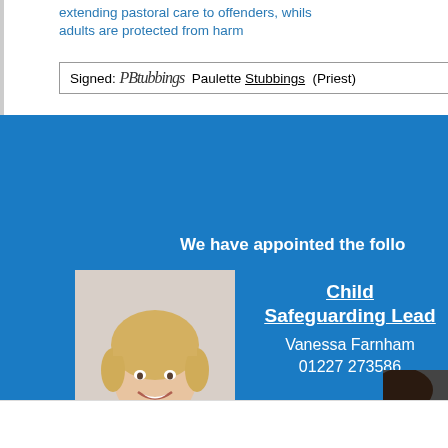extending pastoral care to offenders, whilst adults are protected from harm
Signed: [signature] Paulette Stubbings (Priest)
We have appointed the follo
[Figure (photo): Photo of Vanessa Farnham, a woman with short blonde hair, smiling, wearing a grey top]
Child Safeguarding Lead
Vanessa Farnham
01227 273586
[Figure (photo): Partial photo of another safeguarding lead, partially cropped on right edge]
Please speak to them
[Figure (logo): ChildLine logo — green cloud outline with ChildLine text in black and green]
Family 
helplin